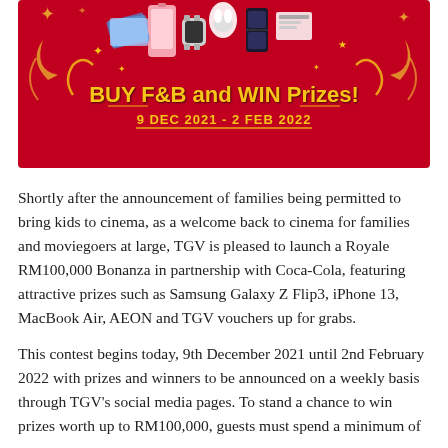[Figure (illustration): Promotional banner with red background showing electronics prizes (iPhone 13, Samsung Galaxy Z Flip3, AirPods, Apple Watch, MacBook). Text reads 'BUY F&B and WIN Prizes! 9 DEC 2021 - 2 FEB 2022' in gold lettering.]
Shortly after the announcement of families being permitted to bring kids to cinema, as a welcome back to cinema for families and moviegoers at large, TGV is pleased to launch a Royale RM100,000 Bonanza in partnership with Coca-Cola, featuring attractive prizes such as Samsung Galaxy Z Flip3, iPhone 13, MacBook Air, AEON and TGV vouchers up for grabs.
This contest begins today, 9th December 2021 until 2nd February 2022 with prizes and winners to be announced on a weekly basis through TGV's social media pages. To stand a chance to win prizes worth up to RM100,000, guests must spend a minimum of